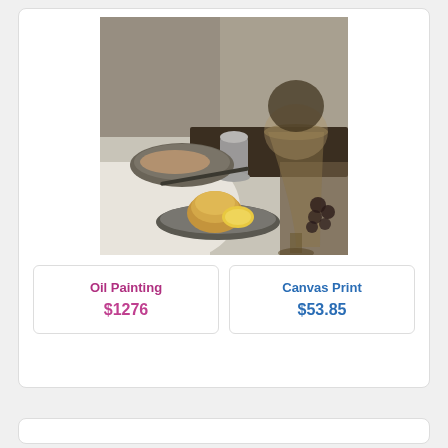[Figure (photo): Dutch Golden Age still life painting showing a table draped in white cloth with a large wine glass, bread on a pewter plate, a silver salt cellar, and a fish dish in the background.]
Oil Painting
$1276
Canvas Print
$53.85